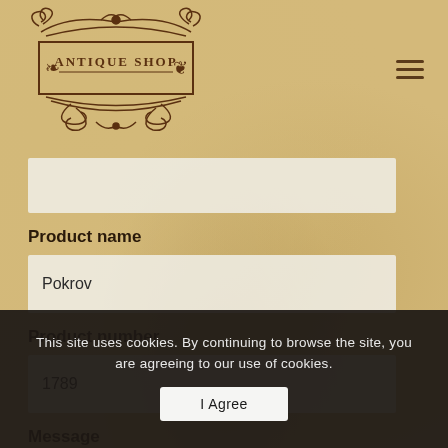[Figure (logo): Antique Shop decorative logo with ornamental scrollwork and text 'ANTIQUE SHOP']
Product name
Pokrov
Product number
1789
Message
This site uses cookies. By continuing to browse the site, you are agreeing to our use of cookies.
I Agree